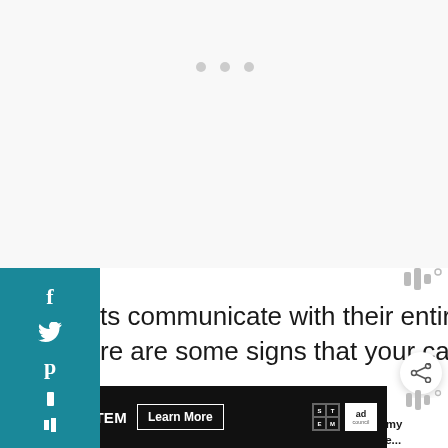[Figure (screenshot): Website screenshot showing social media share bar on left (teal background with Facebook, Twitter, Pinterest, Flipboard, Mix icons), article text partially visible reading 'ts communicate with their entire bodies.' and 're are some signs that your cat is conter 208', a heart/like button, share button, and image of person in jeans with a cat. Below is a 'WHAT'S NEXT' panel with thumbnail and text 'Why Does my Cat Lick me...' and at bottom an advertisement bar reading 'SHE CAN STEM Learn More' with STEM and Ad Council logos.]